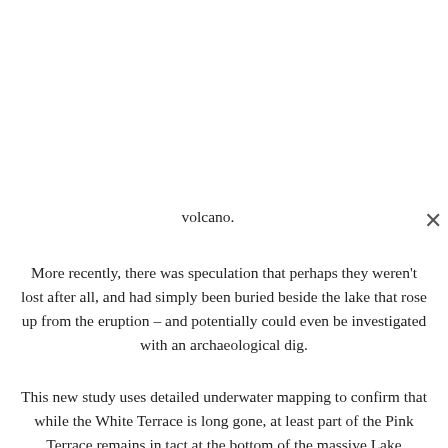volcano.
More recently, there was speculation that perhaps they weren't lost after all, and had simply been buried beside the lake that rose up from the eruption – and potentially could even be investigated with an archaeological dig.
This new study uses detailed underwater mapping to confirm that while the White Terrace is long gone, at least part of the Pink Terrace remains in tact at the bottom of the massive Lake Rotomahana. But unfortunately it isn't something we'll likely be seeing again in our lifetimes.
Once upon a time, these pink and white terraces were